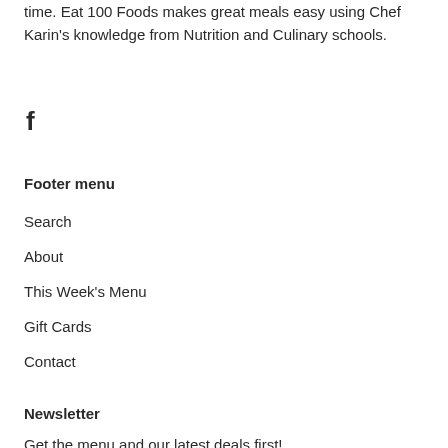time. Eat 100 Foods makes great meals easy using Chef Karin's knowledge from Nutrition and Culinary schools.
[Figure (logo): Facebook icon (f logo)]
Footer menu
Search
About
This Week's Menu
Gift Cards
Contact
Newsletter
Get the menu and our latest deals first!